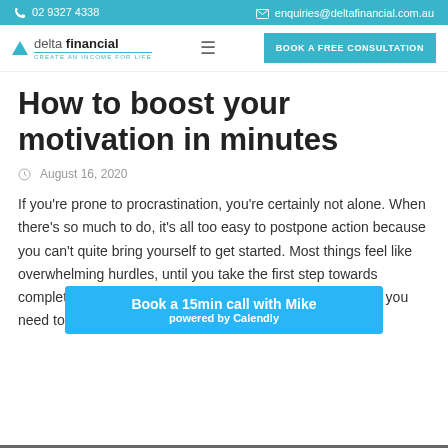02 9327 4338  enquiries@deltafinancial.com.au
[Figure (logo): Delta Financial Group logo with triangle icon and tagline CREATE AN INCOME FOR LIFE]
How to boost your motivation in minutes
August 16, 2020
If you're prone to procrastination, you're certainly not alone. When there's so much to do, it's all too easy to postpone action because you can't quite bring yourself to get started. Most things feel like overwhelming hurdles, until you take the first step towards completion. It's this first step that gets the ball rolling, so all you need to do, is find the motiva
Book a 15min call with Mike
powered by Calendly